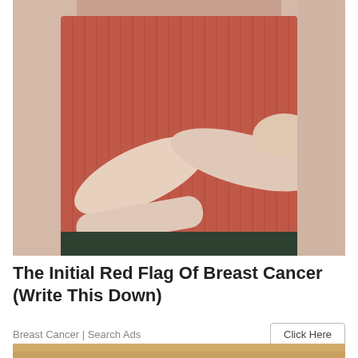[Figure (photo): A person wearing a red ribbed top, with arms crossed over their chest, suggesting a self-examination pose related to breast cancer awareness.]
The Initial Red Flag Of Breast Cancer (Write This Down)
Breast Cancer | Search Ads
[Figure (photo): Partial view of another image at the bottom of the page, showing sandy/earthy tones.]